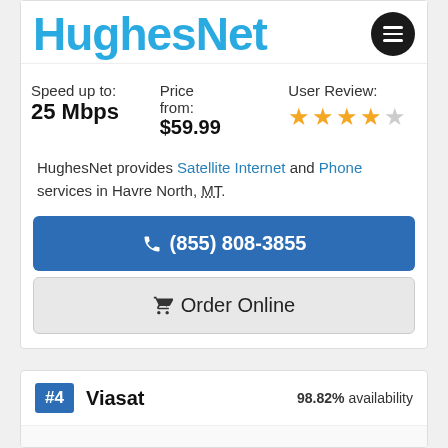[Figure (logo): HughesNet logo in blue with hamburger menu icon]
Speed up to: 25 Mbps
Price from: $59.99
User Review: 4 out of 5 stars
HughesNet provides Satellite Internet and Phone services in Havre North, MT.
☎ (855) 808-3855
Ὥ2 Order Online
#4 Viasat 98.82% availability